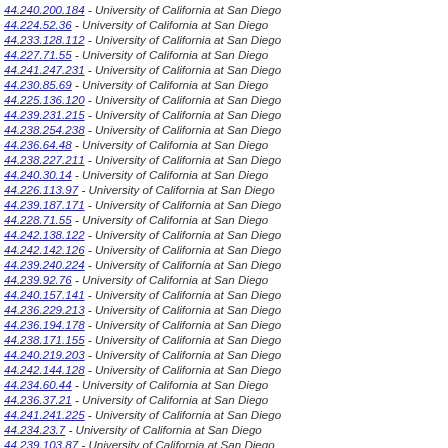44.240.200.184 - University of California at San Diego
44.224.52.36 - University of California at San Diego
44.233.128.112 - University of California at San Diego
44.227.71.55 - University of California at San Diego
44.241.247.231 - University of California at San Diego
44.230.85.69 - University of California at San Diego
44.225.136.120 - University of California at San Diego
44.239.231.215 - University of California at San Diego
44.238.254.238 - University of California at San Diego
44.236.64.48 - University of California at San Diego
44.238.227.211 - University of California at San Diego
44.240.30.14 - University of California at San Diego
44.226.113.97 - University of California at San Diego
44.239.187.171 - University of California at San Diego
44.228.71.55 - University of California at San Diego
44.242.138.122 - University of California at San Diego
44.242.142.126 - University of California at San Diego
44.239.240.224 - University of California at San Diego
44.239.92.76 - University of California at San Diego
44.240.157.141 - University of California at San Diego
44.236.229.213 - University of California at San Diego
44.236.194.178 - University of California at San Diego
44.238.171.155 - University of California at San Diego
44.240.219.203 - University of California at San Diego
44.242.144.128 - University of California at San Diego
44.234.60.44 - University of California at San Diego
44.236.37.21 - University of California at San Diego
44.241.241.225 - University of California at San Diego
44.234.23.7 - University of California at San Diego
44.239.103.87 - University of California at San Diego